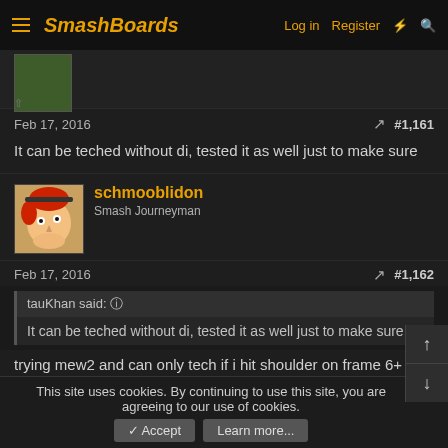SmashBoards | Log in  Register
Feb 17, 2016   #1,161
It can be teched without di, tested it as well just to make sure
schmooblidon
Smash Journeyman
Feb 17, 2016   #1,162
tauKhan said: ↑
It can be teched without di, tested it as well just to make sure
trying mew2 and can only tech if i hit shoulder on frame 6+ of hitlag, the ****.
Last edited: Feb 17, 2016
This site uses cookies. By continuing to use this site, you are agreeing to our use of cookies.